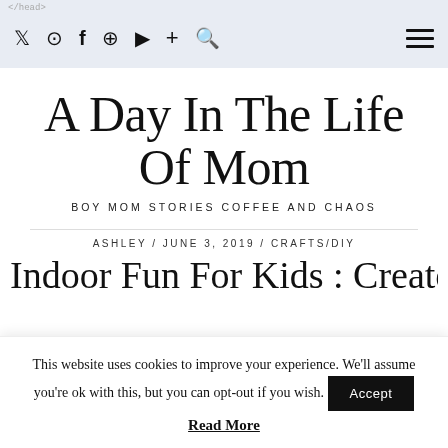</head>  Twitter  Instagram  Facebook  Pinterest  YouTube  +  Search  ☰
A Day In The Life Of Mom
BOY MOM STORIES COFFEE AND CHAOS
ASHLEY / JUNE 3, 2019 / CRAFTS/DIY
Indoor Fun For Kids : Create
This website uses cookies to improve your experience. We'll assume you're ok with this, but you can opt-out if you wish.
Read More